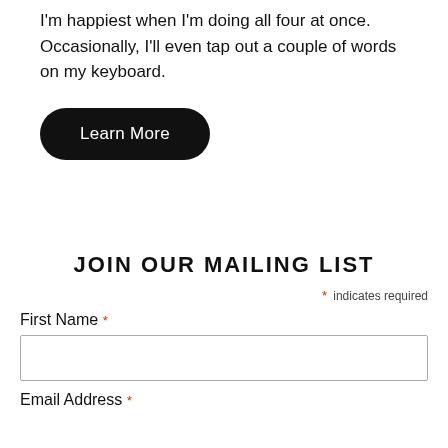I'm happiest when I'm doing all four at once. Occasionally, I'll even tap out a couple of words on my keyboard.
Learn More
JOIN OUR MAILING LIST
* indicates required
First Name *
Email Address *